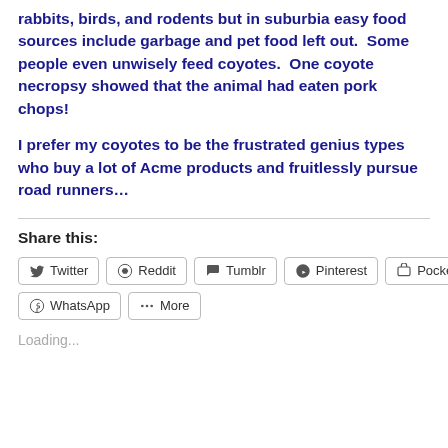rabbits, birds, and rodents but in suburbia easy food sources include garbage and pet food left out.  Some people even unwisely feed coyotes.  One coyote necropsy showed that the animal had eaten pork chops!
I prefer my coyotes to be the frustrated genius types who buy a lot of Acme products and fruitlessly pursue road runners…
Share this:
[Figure (screenshot): Social share buttons row 1: Twitter, Reddit, Tumblr, Pinterest, Pocket]
[Figure (screenshot): Social share buttons row 2: WhatsApp, More]
Loading...